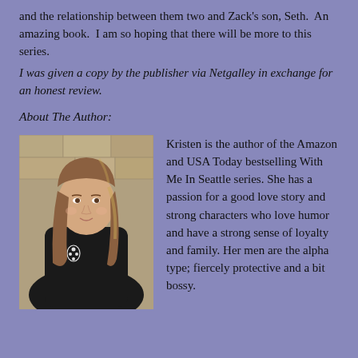and the relationship between them two and Zack's son, Seth.  An amazing book.  I am so hoping that there will be more to this series.
I was given a copy by the publisher via Netgalley in exchange for an honest review.
About The Author:
[Figure (photo): Photo of the author Kristen, a woman with long blonde-brown hair wearing a black top, posed against a stone wall background.]
Kristen is the author of the Amazon and USA Today bestselling With Me In Seattle series. She has a passion for a good love story and strong characters who love humor and have a strong sense of loyalty and family. Her men are the alpha type; fiercely protective and a bit bossy.